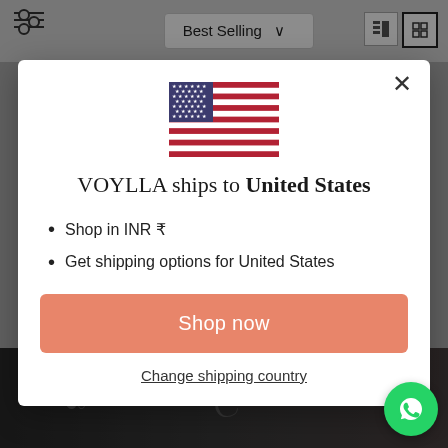[Figure (screenshot): Background of an e-commerce website showing filter icon, Best Selling dropdown, view toggle icons, and dark product photos at bottom]
[Figure (illustration): US flag SVG illustration centered in modal]
VOYLLA ships to United States
Shop in INR ₹
Get shipping options for United States
Shop now
Change shipping country